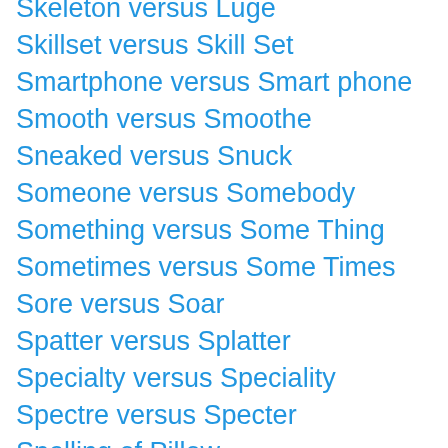Skeleton versus Luge
Skillset versus Skill Set
Smartphone versus Smart phone
Smooth versus Smoothe
Sneaked versus Snuck
Someone versus Somebody
Something versus Some Thing
Sometimes versus Some Times
Sore versus Soar
Spatter versus Splatter
Specialty versus Speciality
Spectre versus Specter
Spelling of Pillow
Spelt versus Spelled
Spoiled versus Spoilt